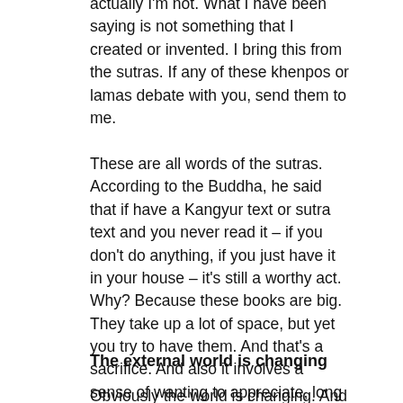actually I'm not. What I have been saying is not something that I created or invented. I bring this from the sutras. If any of these khenpos or lamas debate with you, send them to me.
These are all words of the sutras. According to the Buddha, he said that if have a Kangyur text or sutra text and you never read it – if you don't do anything, if you just have it in your house – it's still a worthy act. Why? Because these books are big. They take up a lot of space, but yet you try to have them. And that's a sacrifice. And also it involves a sense of wanting to appreciate, long for and venerate the words of wisdom. These are very much vipassana. You need to know this.
The external world is changing
Obviously the world is changing. And there is 18. If ...